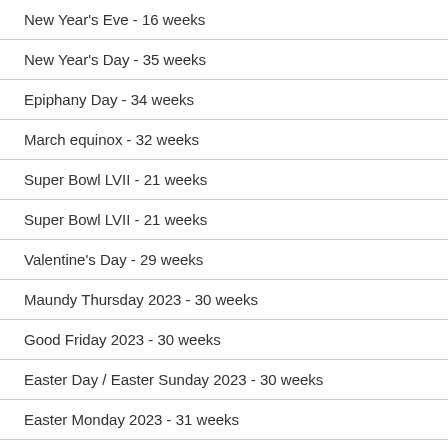New Year's Eve - 16 weeks
New Year's Day - 35 weeks
Epiphany Day - 34 weeks
March equinox - 32 weeks
Super Bowl LVII - 21 weeks
Super Bowl LVII - 21 weeks
Valentine's Day - 29 weeks
Maundy Thursday 2023 - 30 weeks
Good Friday 2023 - 30 weeks
Easter Day / Easter Sunday 2023 - 30 weeks
Easter Monday 2023 - 31 weeks
Easter Saturday 2023 - 31 weeks